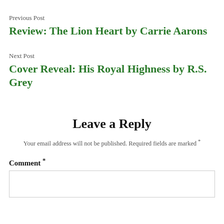Previous Post
Review: The Lion Heart by Carrie Aarons
Next Post
Cover Reveal: His Royal Highness by R.S. Grey
Leave a Reply
Your email address will not be published. Required fields are marked *
Comment *